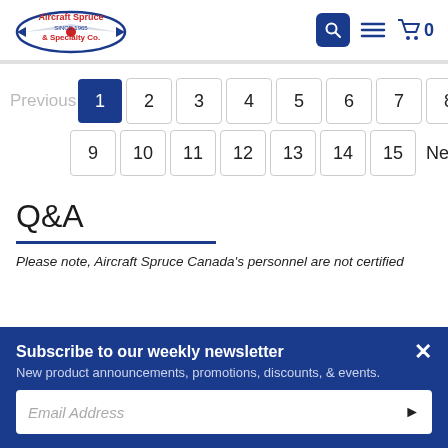Aircraft Spruce & Specialty Co.
Previous 1 2 3 4 5 6 7 8 9 10 11 12 13 14 15 Next
Q&A
Please note, Aircraft Spruce Canada's personnel are not certified
Subscribe to our weekly newsletter
New product announcements, promotions, discounts, & events.
Email Address